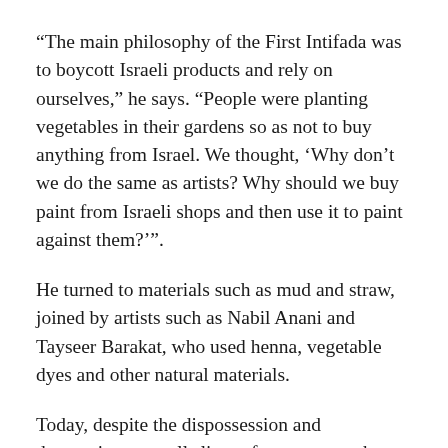“The main philosophy of the First Intifada was to boycott Israeli products and rely on ourselves,” he says. “People were planting vegetables in their gardens so as not to buy anything from Israel. We thought, ‘Why don’t we do the same as artists? Why should we buy paint from Israeli shops and then use it to paint against them?’”.
He turned to materials such as mud and straw, joined by artists such as Nabil Anani and Tayseer Barakat, who used henna, vegetable dyes and other natural materials.
Today, despite the dispossession and destruction, a small sliver of progress, perhaps, is a renewed global conversation around the occupation, and growing support for Palestine expressed by cultural institutions worldwide.
These include a call for solidarity with Palestine by The